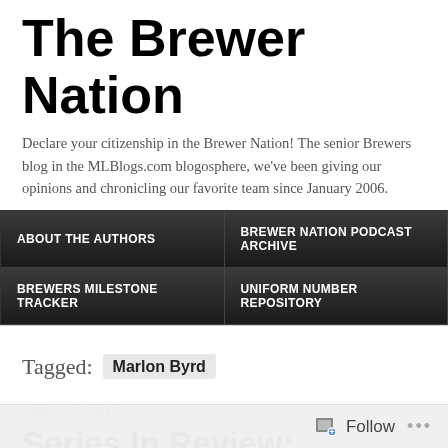The Brewer Nation
Declare your citizenship in the Brewer Nation! The senior Brewers blog in the MLBlogs.com blogosphere, we've been giving our opinions and chronicling our favorite team since January 2006.
ABOUT THE AUTHORS
BREWER NATION PODCAST ARCHIVE
BREWERS MILESTONE TRACKER
UNIFORM NUMBER REPOSITORY
Tagged: Marlon Byrd
APRIL 13, 2012
Series In Review: Brewers Fall Short of First Four-Game Wrigley Sweep